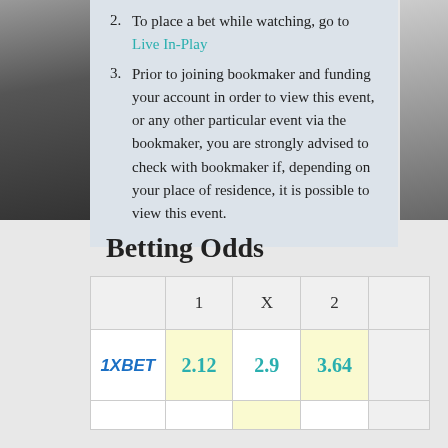2. To place a bet while watching, go to Live In-Play
3. Prior to joining bookmaker and funding your account in order to view this event, or any other particular event via the bookmaker, you are strongly advised to check with bookmaker if, depending on your place of residence, it is possible to view this event.
Betting Odds
|  | 1 | X | 2 |  |
| --- | --- | --- | --- | --- |
| 1XBET | 2.12 | 2.9 | 3.64 |  |
|  |  |  |  |  |